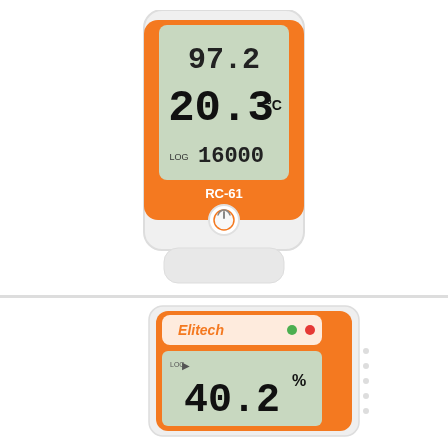[Figure (photo): RC-61 temperature data logger device (orange and white) showing LCD display with reading 97.2 on top row, 20.3°C on main row, LOG 16000 on bottom row, with RC-61 label and power button]
[Figure (photo): Elitech brand temperature/humidity data logger showing 40.2% on LCD display, with orange and white body, green and red indicator LEDs, and Elitech logo. A dark circular chat/message icon appears to the left.]